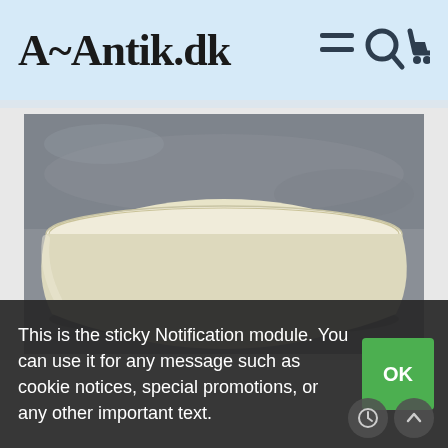A~Antik.dk
[Figure (photo): Photo of a white ceramic bowl with a smooth interior, photographed from slightly above against a gray stone/concrete background. The bowl appears to have a fine gold rim line and faint floral decoration.]
This is the sticky Notification module. You can use it for any message such as cookie notices, special promotions, or any other important text.